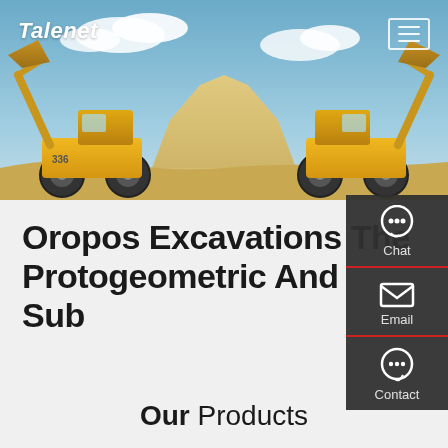[Figure (screenshot): Hero banner with two yellow excavator/wheel loader machines facing each other against a blue sky background with a sand mound, with Talenet logo in top left and hamburger menu in top right]
Oropos Excavations The Protogeometric And Sub
[Figure (screenshot): Dark side panel with Chat, Email, and Contact icons and labels]
Our Products